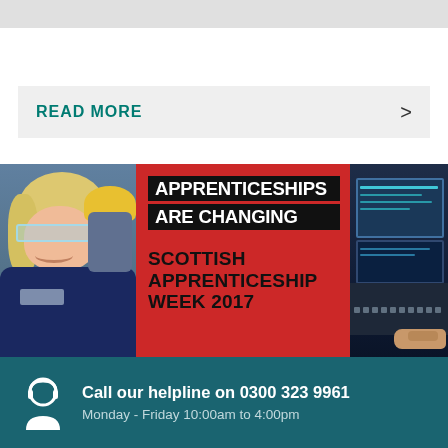READ MORE
[Figure (photo): Promotional banner image for Scottish Apprenticeship Week 2017 showing a woman in safety glasses smiling, text overlays reading 'Apprenticeships Are Changing' on black background, and 'Scottish Apprenticeship Week 2017' on red background, with a tech/control panel on the right side.]
Call our helpline on 0300 323 9961
Monday - Friday 10:00am to 4:00pm